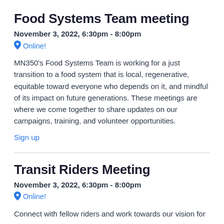Food Systems Team meeting
November 3, 2022, 6:30pm - 8:00pm
Online!
MN350's Food Systems Team is working for a just transition to a food system that is local, regenerative, equitable toward everyone who depends on it, and mindful of its impact on future generations. These meetings are where we come together to share updates on our campaigns, training, and volunteer opportunities.
Sign up
Transit Riders Meeting
November 3, 2022, 6:30pm - 8:00pm
Online!
Connect with fellow riders and work towards our vision for